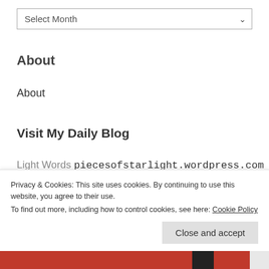Select Month
About
About
Visit My Daily Blog
Light Words piecesofstarlight.wordpress.com
2012
Astrology
Blue Moon
Privacy & Cookies: This site uses cookies. By continuing to use this website, you agree to their use.
To find out more, including how to control cookies, see here: Cookie Policy
Close and accept